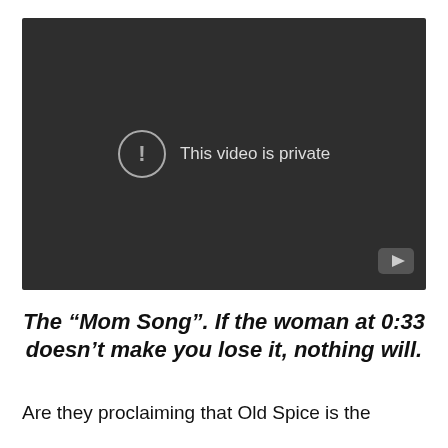[Figure (screenshot): Embedded YouTube video player showing 'This video is private' error message with an exclamation icon in a dark gray frame. YouTube logo visible in bottom-right corner of player.]
The “Mom Song”. If the woman at 0:33 doesn’t make you lose it, nothing will.
Are they proclaiming that Old Spice is the